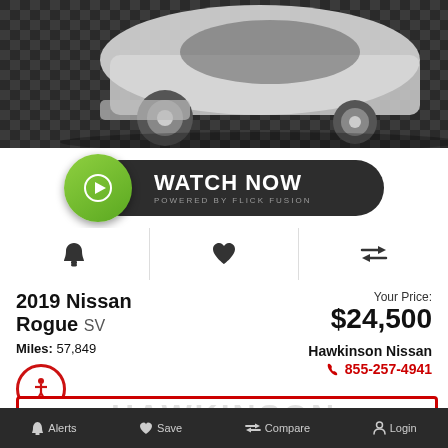[Figure (photo): White Nissan Rogue SUV front/wheel view on dark checkered floor background]
[Figure (other): Watch Now button powered by Flick Fusion - green play button circle on dark background]
[Figure (other): Icon row with alert bell, heart/save, and compare arrows icons]
2019 Nissan Rogue SV
Miles: 57,849
Your Price: $24,500
Hawkinson Nissan
855-257-4941
Alerts  Save  Compare  Login